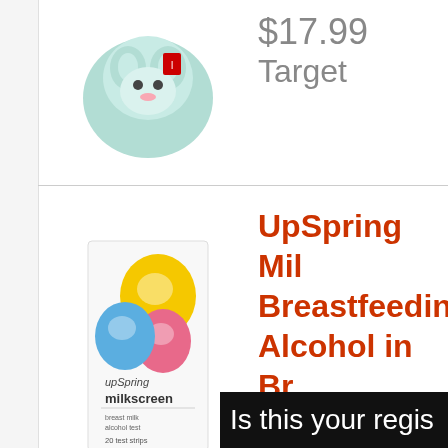$17.99
Target
[Figure (photo): UpSpring Milkscreen product image - colorful box with yellow, blue, and pink balloon-like shapes]
UpSpring Milkscreen Breastfeeding Alcohol in Breast Milk Test
$24.99
Target
Is this your regis...